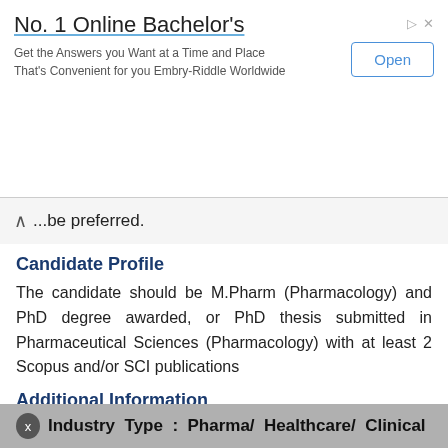[Figure (other): Advertisement banner: 'No. 1 Online Bachelor's' - Get the Answers you Want at a Time and Place That's Convenient for you Embry-Riddle Worldwide. With an Open button.]
...be preferred.
Candidate Profile
The candidate should be M.Pharm (Pharmacology) and PhD degree awarded, or PhD thesis submitted in Pharmaceutical Sciences (Pharmacology) with at least 2 Scopus and/or SCI publications
Additional Information
Qualification : M.Pharm (Pharmacology) and PhD
Location : Lucknow
Industry Type : Pharma/ Healthcare/ Clinical